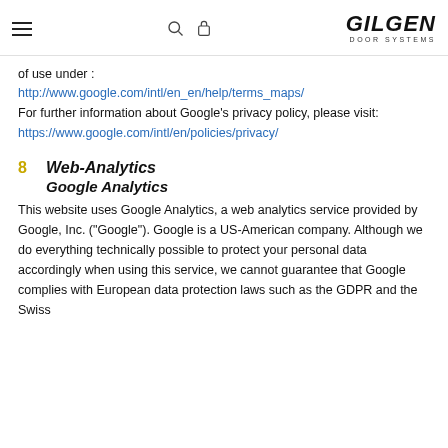Gilgen Door Systems — navigation header
of use under :
http://www.google.com/intl/en_en/help/terms_maps/
For further information about Google's privacy policy, please visit:
https://www.google.com/intl/en/policies/privacy/
8  Web-Analytics
Google Analytics
This website uses Google Analytics, a web analytics service provided by Google, Inc. ("Google"). Google is a US-American company. Although we do everything technically possible to protect your personal data accordingly when using this service, we cannot guarantee that Google complies with European data protection laws such as the GDPR and the Swiss